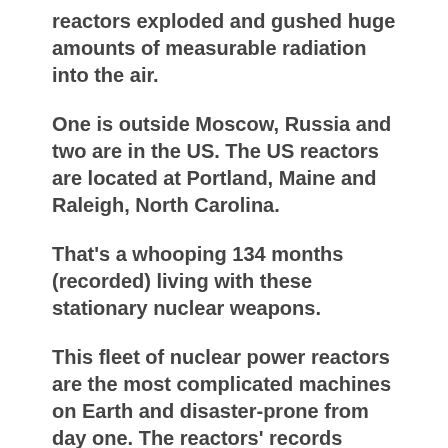reactors exploded and gushed huge amounts of measurable radiation into the air.
One is outside Moscow, Russia and two are in the US. The US reactors are located at Portland, Maine and Raleigh, North Carolina.
That's a whooping 134 months (recorded) living with these stationary nuclear weapons.
This fleet of nuclear power reactors are the most complicated machines on Earth and disaster-prone from day one. The reactors' records show it is deadly to run them.
The big nuclear power reactors are poisoning Americans every minute of every day. It was clearly and plainly visible to Dictator Putin. So the Dictator